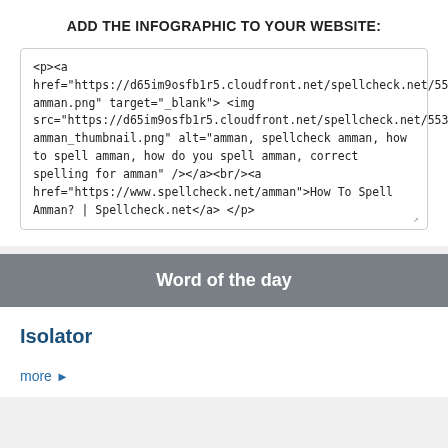ADD THE INFOGRAPHIC TO YOUR WEBSITE:
<p><a href="https://d65im9osfb1r5.cloudfront.net/spellcheck.net/5537786-amman.png" target="_blank"> <img src="https://d65im9osfb1r5.cloudfront.net/spellcheck.net/5537786-amman_thumbnail.png" alt="amman, spellcheck amman, how to spell amman, how do you spell amman, correct spelling for amman" /></a><br/><a href="https://www.spellcheck.net/amman">How To Spell Amman? | Spellcheck.net</a> </p>
Word of the day
Isolator
more ▶